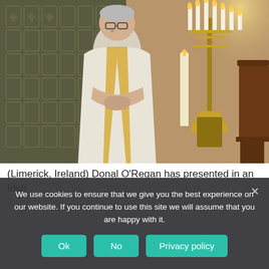[Figure (photo): A Catholic priest in white and gold vestments standing in a church with ornate gold candelabra and a wooden lectern visible in the background. The church walls have decorative patterns.]
(Limerick, Ireland) Donal O'Regan has presented in an Irish
We use cookies to ensure that we give you the best experience on our website. If you continue to use this site we will assume that you are happy with it.